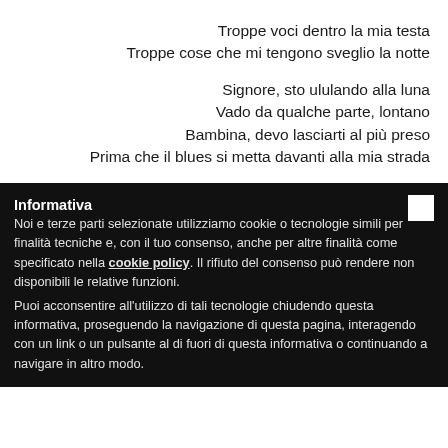Troppe voci dentro la mia testa
Troppe cose che mi tengono sveglio la notte
Signore, sto ululando alla luna
Vado da qualche parte, lontano
Bambina, devo lasciarti al più preso
Prima che il blues si metta davanti alla mia strada
Informativa
Noi e terze parti selezionate utilizziamo cookie o tecnologie simili per finalità tecniche e, con il tuo consenso, anche per altre finalità come specificato nella cookie policy. Il rifiuto del consenso può rendere non disponibili le relative funzioni.
Puoi acconsentire all'utilizzo di tali tecnologie chiudendo questa informativa, proseguendo la navigazione di questa pagina, interagendo con un link o un pulsante al di fuori di questa informativa o continuando a navigare in altro modo.